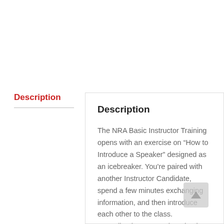Description
Description
The NRA Basic Instructor Training opens with an exercise on “How to Introduce a Speaker” designed as an icebreaker. You’re paired with another Instructor Candidate, spend a few minutes exchanging information, and then introduce each other to the class. Immediately you start learning how to talk on your feet while we teach you how to offer useful praise and constructive suggestions. You’re teaching. We